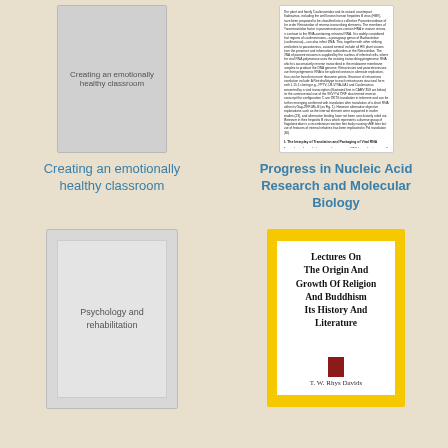[Figure (illustration): Book cover thumbnail: gray cover with text 'Creating an emotionally healthy classroom']
Creating an emotionally healthy classroom
[Figure (illustration): Book cover thumbnail: white page with small dense text showing scientific content about nucleic acid research]
Progress in Nucleic Acid Research and Molecular Biology
[Figure (illustration): Book cover thumbnail: gray outer cover with lighter gray inner panel containing text 'Psychology and rehabilitation']
[Figure (illustration): Book cover thumbnail: yellow cover with white inner panel containing title 'Lectures On The Origin And Growth Of Religion And Buddhism Its History And Literature' and author 'T. W. Rhys Davids']